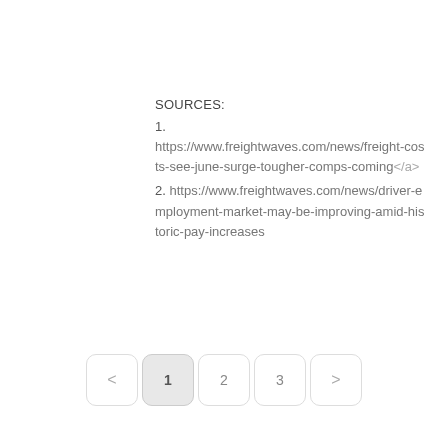SOURCES:
1. https://www.freightwaves.com/news/freight-costs-see-june-surge-tougher-comps-coming</a>
2. https://www.freightwaves.com/news/driver-employment-market-may-be-improving-amid-historic-pay-increases
< 1 2 3 >